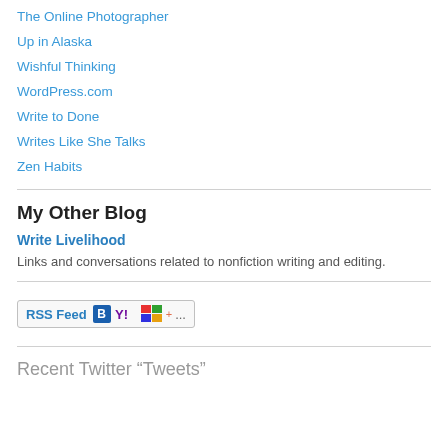The Online Photographer
Up in Alaska
Wishful Thinking
WordPress.com
Write to Done
Writes Like She Talks
Zen Habits
My Other Blog
Write Livelihood
Links and conversations related to nonfiction writing and editing.
[Figure (other): RSS Feed subscription button with Bloglines, Yahoo, Windows Live and more icons]
Recent Twitter “Tweets”